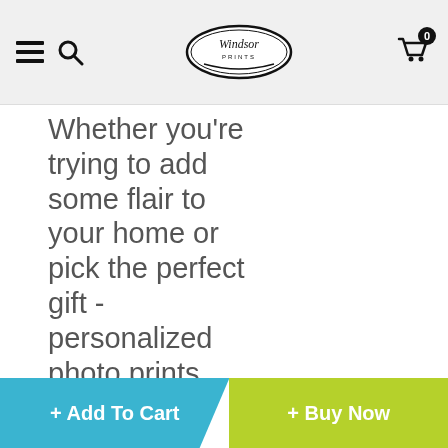Windsor Prints - navigation header with hamburger menu, search, logo, and cart
Whether you're trying to add some flair to your home or pick the perfect gift - personalized photo prints
[Figure (photo): Partial image strip visible at bottom of content area]
1 people are viewing this item
+ Add To Cart  + Buy Now